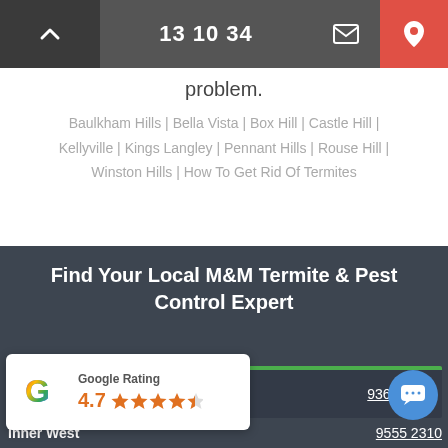13 10 34
problem.
Baulkham Hills | Bella Vista | Box Hill | Castle Hill | Kellyville | Kings Langley | Pennant Hills | Rouse Hill | Winston Hills | How To Get Rid Of Termites
Find Your Local M&M Termite & Pest Control Expert
Sydney 9362 2213
4.7 Google Rating
Inner West 9555 2310